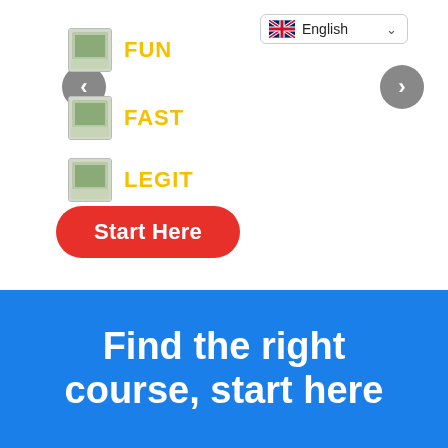[Figure (screenshot): Language selector dropdown showing UK flag and 'English' label with chevron]
[Figure (screenshot): Left navigation arrow button (grey circle with left chevron)]
[Figure (screenshot): Right navigation arrow button (grey circle with right chevron)]
FUN
FAST
LEGIT
Start Here
Find the right course, start here